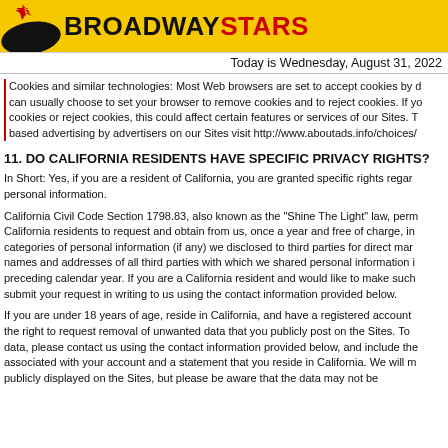BROADWAYSTARS
Today is Wednesday, August 31, 2022
Cookies and similar technologies: Most Web browsers are set to accept cookies by default. You can usually choose to set your browser to remove cookies and to reject cookies. If you choose to remove cookies or reject cookies, this could affect certain features or services of our Sites. To opt-out of interest-based advertising by advertisers on our Sites visit http://www.aboutads.info/choices/
11. DO CALIFORNIA RESIDENTS HAVE SPECIFIC PRIVACY RIGHTS?
In Short: Yes, if you are a resident of California, you are granted specific rights regarding access to your personal information.
California Civil Code Section 1798.83, also known as the "Shine The Light" law, permits our users who are California residents to request and obtain from us, once a year and free of charge, information about categories of personal information (if any) we disclosed to third parties for direct marketing purposes and the names and addresses of all third parties with which we shared personal information in the immediately preceding calendar year. If you are a California resident and would like to make such a request, please submit your request in writing to us using the contact information provided below.
If you are under 18 years of age, reside in California, and have a registered account with the Sites, you have the right to request removal of unwanted data that you publicly post on the Sites. To request removal of such data, please contact us using the contact information provided below, and include the email address associated with your account and a statement that you reside in California. We will make sure the data is not publicly displayed on the Sites, but please be aware that the data may not be completely or comprehensively removed from our systems.